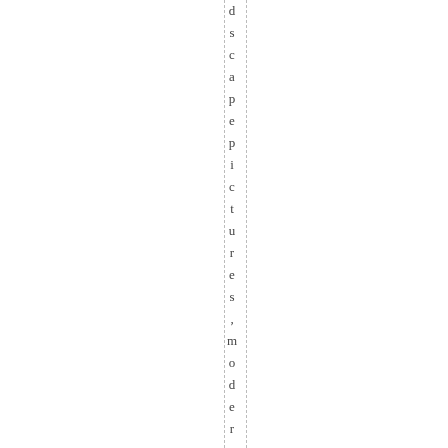d s c a p e p i c t u r e s , m o d e r n a r t ,